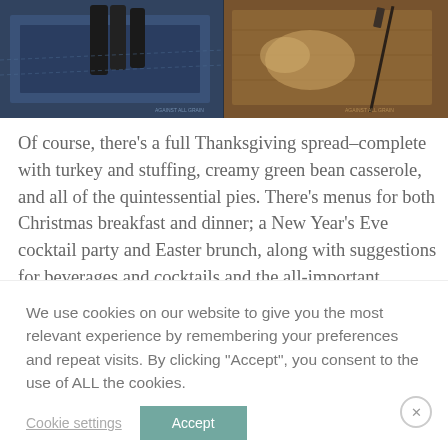[Figure (photo): Two food/lifestyle photos side by side: left shows dark brushes or utensils on blue denim fabric; right shows food items on a wooden cutting board with a knife]
Of course, there's a full Thanksgiving spread–complete with turkey and stuffing, creamy green bean casserole, and all of the quintessential pies. There's menus for both Christmas breakfast and dinner; a New Year's Eve cocktail party and Easter brunch, along with suggestions for beverages and cocktails and the all-important desserts. The best part is that the recipes can be mixed and matched among the various occasions, and most of the dishes are even simple enough for
We use cookies on our website to give you the most relevant experience by remembering your preferences and repeat visits. By clicking "Accept", you consent to the use of ALL the cookies.